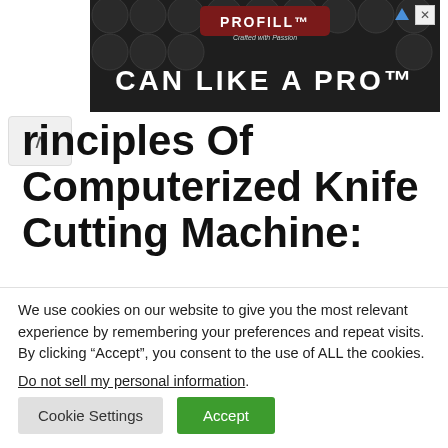[Figure (screenshot): Advertisement banner for PROFILL 'CAN LIKE A PRO' product, dark background with circular can lids visible]
Principles Of Computerized Knife Cutting Machine:
The principles of a computerized knife cutting system are given below.
We use cookies on our website to give you the most relevant experience by remembering your preferences and repeat visits. By clicking “Accept”, you consent to the use of ALL the cookies. Do not sell my personal information.